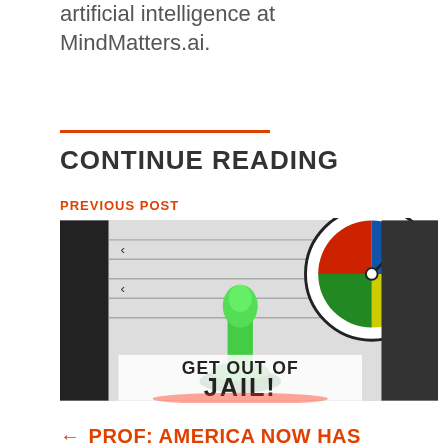artificial intelligence at MindMatters.ai.
CONTINUE READING
PREVIOUS POST
[Figure (photo): Board game image featuring a green game piece and a spinner (with red, blue, green, yellow sections) on a board game. Text on the board reads 'GET OUT OF JAIL!']
← PROF: AMERICA NOW HAS